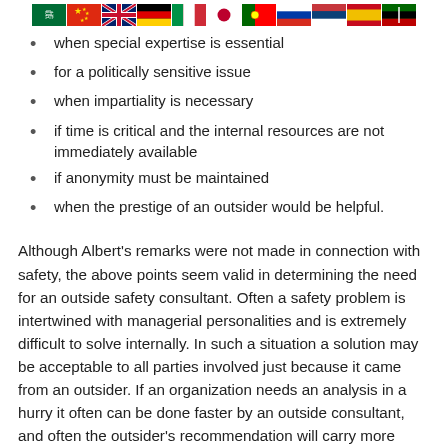[Figure (illustration): Row of national flags including Saudi Arabia, China, UK, Germany, Italy, Japan, Portugal, Russia, Serbia, Spain, Kenya and others]
when special expertise is essential
for a politically sensitive issue
when impartiality is necessary
if time is critical and the internal resources are not immediately available
if anonymity must be maintained
when the prestige of an outsider would be helpful.
Although Albert's remarks were not made in connection with safety, the above points seem valid in determining the need for an outside safety consultant. Often a safety problem is intertwined with managerial personalities and is extremely difficult to solve internally. In such a situation a solution may be acceptable to all parties involved just because it came from an outsider. If an organization needs an analysis in a hurry it often can be done faster by an outside consultant, and often the outsider's recommendation will carry more weight than the